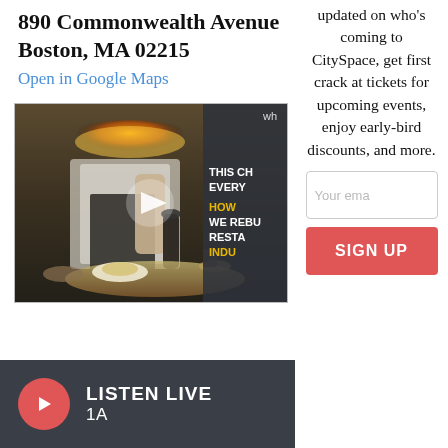890 Commonwealth Avenue
Boston, MA 02215
Open in Google Maps
[Figure (screenshot): Video thumbnail showing a chef cooking in a restaurant kitchen. On the right side of the thumbnail is a dark overlay with white bold text reading 'THIS CH EVERY HOW WE REBU RESTA' and yellow bold text reading 'INDU'. A play button is centered on the thumbnail. Top right shows 'wh'.]
updated on who's coming to CitySpace, get first crack at tickets for upcoming events, enjoy early-bird discounts, and more.
Your ema
SIGN UP
LISTEN LIVE
1A